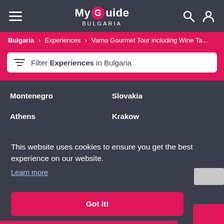My Guide BULGARIA
Bulgaria > Experiences > Varna Gourmet Tour including Wine Ta...
Filter Experiences in Bulgaria
Montenegro
Slovakia
Athens
Krakow
This website uses cookies to ensure you get the best experience on our website.
Learn more
Got it!